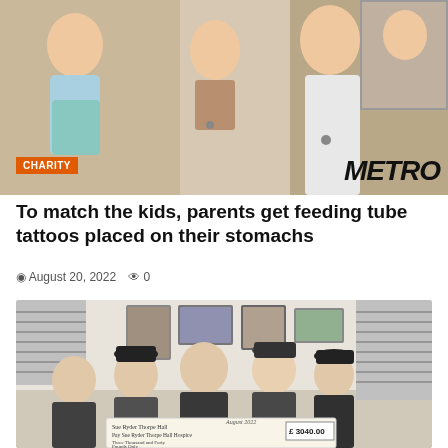[Figure (photo): Family photo showing children and a woman with visible stomachs, with METRO logo and CHARITY tag overlay]
To match the kids, parents get feeding tube tattoos placed on their stomachs
August 20, 2022   0
[Figure (photo): Group of five men holding a large charity cheque made out to Sue Ryder Thorpe Hall Hospice for £3040.00, dated August 2022]